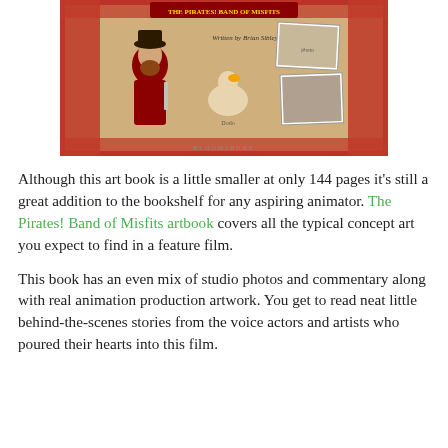[Figure (illustration): Book cover image of 'The Pirates! Band of Misfits' artbook. Shows a pirate character in red coat, a dodo bird illustration, and two photographs, on a parchment/red background. Text 'Written by Brian Sibley' and 'Bloomsbury' visible.]
Although this art book is a little smaller at only 144 pages it's still a great addition to the bookshelf for any aspiring animator. The Pirates! Band of Misfits artbook covers all the typical concept art you expect to find in a feature film.
This book has an even mix of studio photos and commentary along with real animation production artwork. You get to read neat little behind-the-scenes stories from the voice actors and artists who poured their hearts into this film.